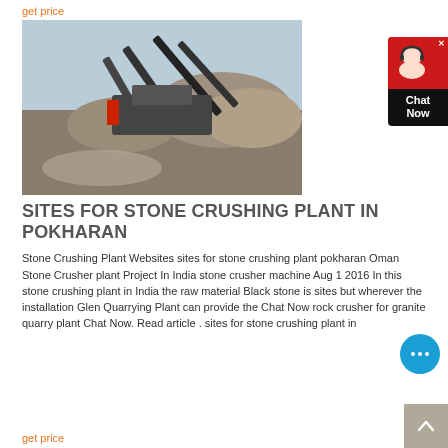get price
[Figure (photo): Stone crushing plant machinery at an outdoor site with conveyors, crushers, and gravel/sand piles]
SITES FOR STONE CRUSHING PLANT IN POKHARAN
Stone Crushing Plant Websites sites for stone crushing plant pokharan Oman Stone Crusher plant Project In India stone crusher machine Aug 1 2016 In this stone crushing plant in India the raw material Black stone is sites but wherever the installation Glen Quarrying Plant can provide the Chat Now rock crusher for granite quarry plant Chat Now. Read article . sites for stone crushing plant in
get price